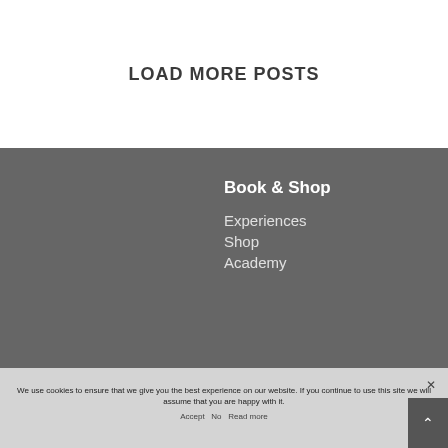LOAD MORE POSTS
Book & Shop
Experiences
Shop
Academy
We use cookies to ensure that we give you the best experience on our website. If you continue to use this site we will assume that you are happy with it.
Accept   No   Read more
Artisans of Taste   Keep In Touch with us